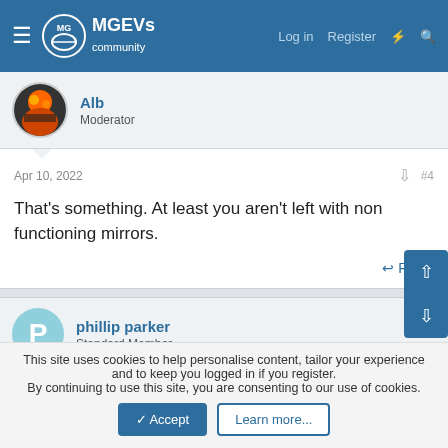MG EVs community — Log in | Register
Alb
Moderator
Apr 10, 2022   #4
That's something. At least you aren't left with non functioning mirrors.
Reply
phillip parker
Standard Member
May 7, 2022   #5
This site uses cookies to help personalise content, tailor your experience and to keep you logged in if you register.
By continuing to use this site, you are consenting to our use of cookies.